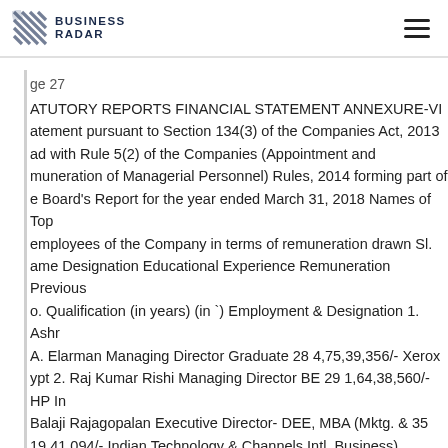BUSINESS RADAR
ge 27
STATUTORY REPORTS FINANCIAL STATEMENT ANNEXURE-VI
Statement pursuant to Section 134(3) of the Companies Act, 2013
read with Rule 5(2) of the Companies (Appointment and
Remuneration of Managerial Personnel) Rules, 2014 forming part of
the Board's Report for the year ended March 31, 2018 Names of Top
employees of the Company in terms of remuneration drawn Sl.
Name Designation Educational Experience Remuneration Previous
No. Qualification (in years) (in `) Employment & Designation 1. Ashwin
A. Elarman Managing Director Graduate 28 4,75,39,356/- Xerox
Egypt 2. Raj Kumar Rishi Managing Director BE 29 1,64,38,560/- HP Inc
Balaji Rajagopalan Executive Director- DEE, MBA (Mktg. & 35
19,41,094/- Indian Technology & Channels Intl. Business)
Reprographic Systems (P) Ltd. 4. Deepika Chaudhry Executive
Director-Legal LLB, B.Sc 27 1,40,71,799/- Microsoft India 5. Kanchan
Dehal Executive Director-HR, BA, PGDBM 21 1,31,16,828/- GAP Inc